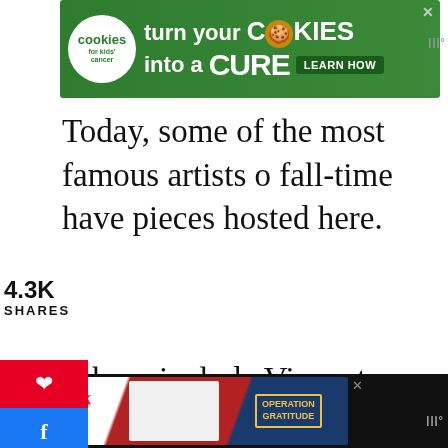[Figure (other): Advertisement banner - cookies for kids cancer: turn your COOKIES into a CURE LEARN HOW]
Today, some of the most famous artists of all-time have pieces hosted here.
4.3K
SHARES
[Figure (other): Social sharing sidebar with Pinterest, Facebook, Twitter, Reddit, and Email buttons]
These include Vincent van Gogh, Paul Cézanne, and Edgar Degas.
There have also been striking temporary exhibitions, with a focus on things such as Art and American Car Culture” and Native American pieces.
[Figure (other): Heart/save button with 4.4K count and share button on right side]
[Figure (other): Bottom advertisement banner - Operation Gratitude thank you ad]